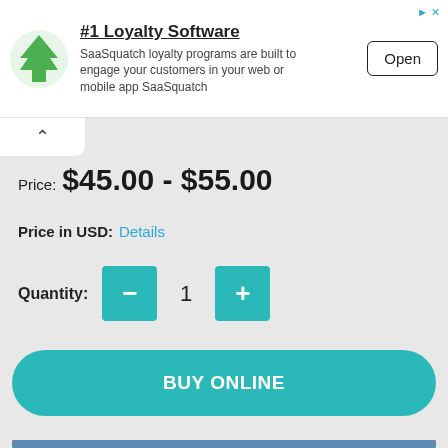[Figure (screenshot): Advertisement banner for SaaSQuatch loyalty software with green tree logo, title '#1 Loyalty Software', description text, and Open button]
#1 Loyalty Software
SaaSquatch loyalty programs are built to engage your customers in your web or mobile app SaaSquatch
Price:  $45.00 - $55.00
Price in USD:  Details
Quantity:  1
BUY ONLINE
[Figure (photo): Advertisement showing a great white shark emerging from ocean water near a wooden dock with food, labeled РЕКЛАМА 16+]